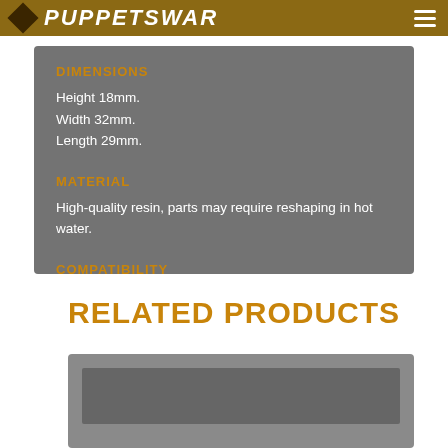PUPPETSWAR
DIMENSIONS
Height 18mm.
Width 32mm.
Length 29mm.
MATERIAL
High-quality resin, parts may require reshaping in hot water.
COMPATIBILITY
"H.I. Bodies" and various types of weapon tips,
RELATED PRODUCTS
[Figure (other): Related product thumbnail placeholder image]